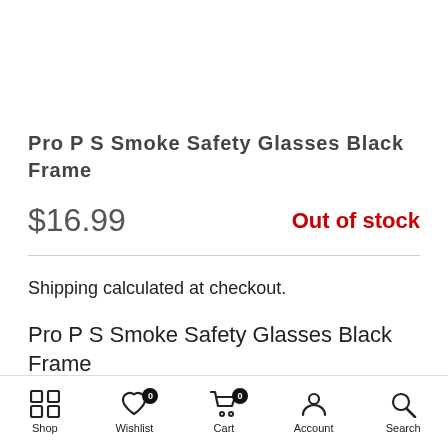Pro P S Smoke Safety Glasses Black Frame
$16.99   Out of stock
Shipping calculated at checkout.
Pro P S Smoke Safety Glasses Black Frame
Shop  Wishlist 0  Cart 0  Account  Search